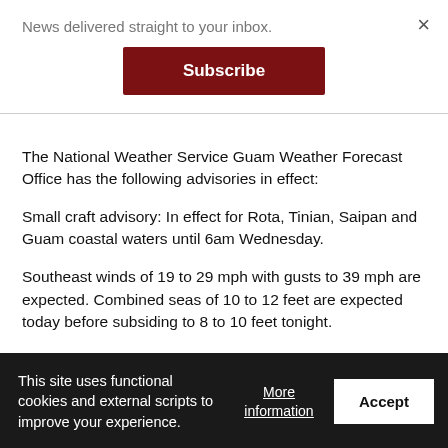News delivered straight to your inbox.
Subscribe
The National Weather Service Guam Weather Forecast Office has the following advisories in effect:
Small craft advisory: In effect for Rota, Tinian, Saipan and Guam coastal waters until 6am Wednesday.
Southeast winds of 19 to 29 mph with gusts to 39 mph are expected. Combined seas of 10 to 12 feet are expected today before subsiding to 8 to 10 feet tonight.
Inexperienced mariners, especially those operating smaller
This site uses functional cookies and external scripts to improve your experience.
More information
Accept